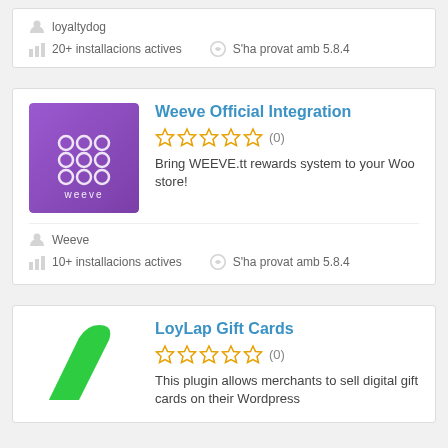loyaltydog
20+ installacions actives
S'ha provat amb 5.8.4
Weeve Official Integration
0 reviews (0)
Bring WEEVE.tt rewards system to your Woo store!
Weeve
10+ installacions actives
S'ha provat amb 5.8.4
LoyLap Gift Cards
0 reviews (0)
This plugin allows merchants to sell digital gift cards on their Wordpress